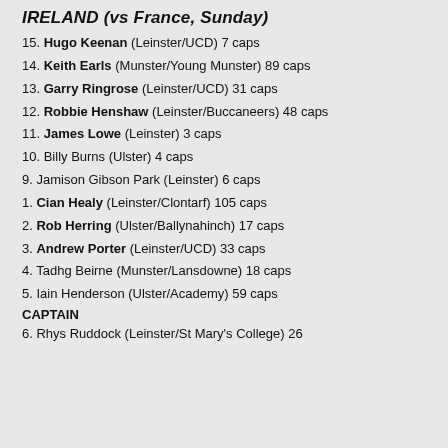IRELAND (vs France, Sunday)
15. Hugo Keenan (Leinster/UCD) 7 caps
14. Keith Earls (Munster/Young Munster) 89 caps
13. Garry Ringrose (Leinster/UCD) 31 caps
12. Robbie Henshaw (Leinster/Buccaneers) 48 caps
11. James Lowe (Leinster) 3 caps
10. Billy Burns (Ulster) 4 caps
9. Jamison Gibson Park (Leinster) 6 caps
1. Cian Healy (Leinster/Clontarf) 105 caps
2. Rob Herring (Ulster/Ballynahinch) 17 caps
3. Andrew Porter (Leinster/UCD) 33 caps
4. Tadhg Beirne (Munster/Lansdowne) 18 caps
5. Iain Henderson (Ulster/Academy) 59 caps CAPTAIN
6. Rhys Ruddock (Leinster/St Mary's College) 26